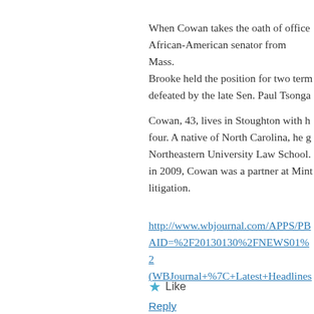When Cowan takes the oath of office African-American senator from Mass. Brooke held the position for two terms defeated by the late Sen. Paul Tsonga
Cowan, 43, lives in Stoughton with h four. A native of North Carolina, he g Northeastern University Law School. in 2009, Cowan was a partner at Mint litigation.
http://www.wbjournal.com/APPS/PB AID=%2F20130130%2FNEWS01%2 (WBJournal+%7C+Latest+Headlines
Like
Reply